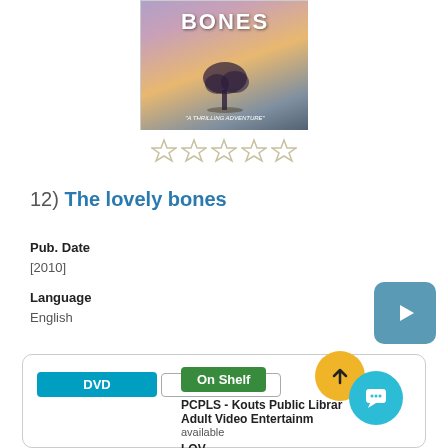[Figure (illustration): Book cover for 'The Lovely Bones' showing a tree silhouette against a purple/orange sky with the text 'A THRILLING ADVENTURE']
[Figure (other): 5 empty star rating icons]
12) The lovely bones
Pub. Date
[2010]
Language
English
[Figure (other): Teal play button icon]
| DVD | On Shelf |
| Show Edition | PCPLS - Kouts Public Library - Adult Video Entertainment
available |
|  | LOV |
|  | PCPLS - Portage Public Library - |